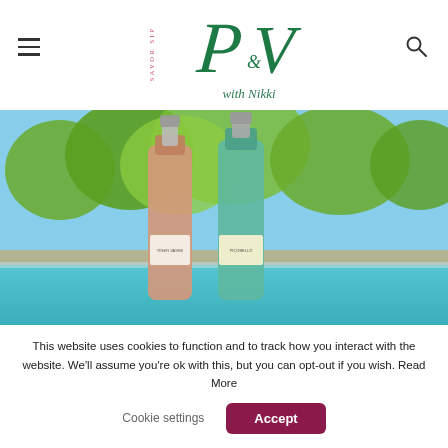SAVOR Sip P&V with Nikki — navigation header with hamburger menu and search icon
[Figure (photo): Two wine bottles (one with pink/rose label, one with teal/green label) displayed in front of a turquoise swimming pool with trees in the background on a sunny day.]
This website uses cookies to function and to track how you interact with the website. We'll assume you're ok with this, but you can opt-out if you wish. Read More
Cookie settings | Accept